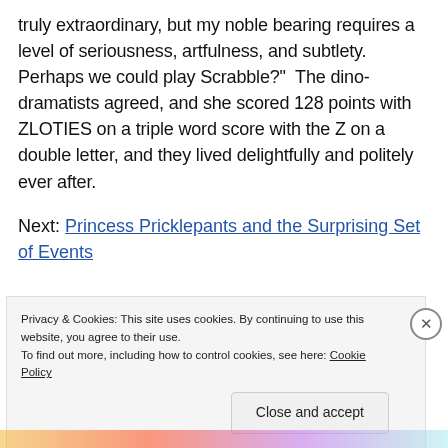truly extraordinary, but my noble bearing requires a level of seriousness, artfulness, and subtlety.  Perhaps we could play Scrabble?"  The dino-dramatists agreed, and she scored 128 points with ZLOTIES on a triple word score with the Z on a double letter, and they lived delightfully and politely ever after.
Next: Princess Pricklepants and the Surprising Set of Events
Privacy & Cookies: This site uses cookies. By continuing to use this website, you agree to their use.
To find out more, including how to control cookies, see here: Cookie Policy
Close and accept